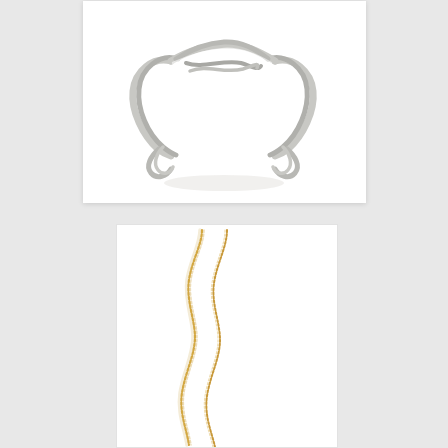[Figure (photo): Silver twisted wire cuff bracelet / ear cuff jewelry photographed on white background, viewed from above showing two open-ended twisted silver wire loops with scroll-like ends]
[Figure (photo): Two thin gold chain necklaces arranged in a wavy S-curve pattern on white background, showing delicate fine chain links in gold/yellow gold metal]